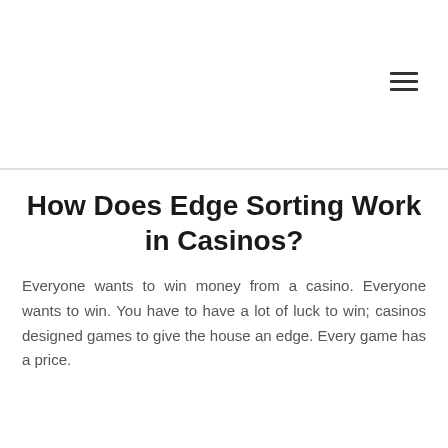How Does Edge Sorting Work in Casinos?
Everyone wants to win money from a casino. Everyone wants to win. You have to have a lot of luck to win; casinos designed games to give the house an edge. Every game has a price.